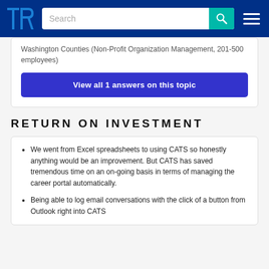TrustRadius navigation bar with logo, search box, and menu
Washington Counties (Non-Profit Organization Management, 201-500 employees)
View all 1 answers on this topic
RETURN ON INVESTMENT
We went from Excel spreadsheets to using CATS so honestly anything would be an improvement. But CATS has saved tremendous time on an on-going basis in terms of managing the career portal automatically.
Being able to log email conversations with the click of a button from Outlook right into CATS